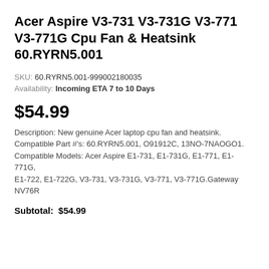Acer Aspire V3-731 V3-731G V3-771 V3-771G Cpu Fan & Heatsink 60.RYRN5.001
SKU: 60.RYRN5.001-999002180035
Availability: Incoming ETA 7 to 10 Days
$54.99
Description: New genuine Acer laptop cpu fan and heatsink. Compatible Part #'s: 60.RYRN5.001, O91912C, 13NO-7NAOGO1. Compatible Models: Acer Aspire E1-731, E1-731G, E1-771, E1-771G, E1-722, E1-722G, V3-731, V3-731G, V3-771, V3-771G.Gateway NV76R
Subtotal: $54.99